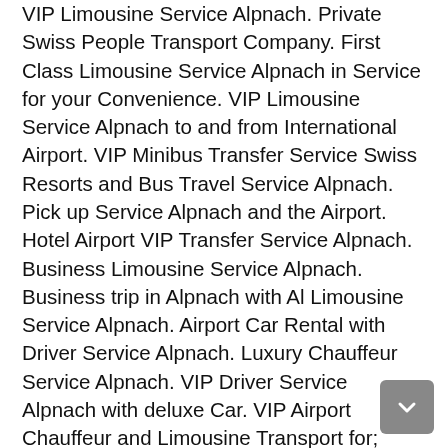VIP Limousine Service Alpnach. Private Swiss People Transport Company. First Class Limousine Service Alpnach in Service for your Convenience. VIP Limousine Service Alpnach to and from International Airport. VIP Minibus Transfer Service Swiss Resorts and Bus Travel Service Alpnach. Pick up Service Alpnach and the Airport. Hotel Airport VIP Transfer Service Alpnach. Business Limousine Service Alpnach. Business trip in Alpnach with Al Limousine Service Alpnach. Airport Car Rental with Driver Service Alpnach. Luxury Chauffeur Service Alpnach. VIP Driver Service Alpnach with deluxe Car. VIP Airport Chauffeur and Limousine Transport for; Business, Congress, Seminar, Conference, Forum, Symposium, Meeting, Festival, Event and Holiday. Alpnach VIP Limousine Service. Professional Chauffeured Car Services Alpnach. Personal attendant and escort of VIP by the Al Limousine Travel Services. Alpnach Limousine Travel Service for a comfortable journey. Al Limousine Service Alpnach escorts business partners, VIFs (Very Important Persons). CIPs (Commercially Important